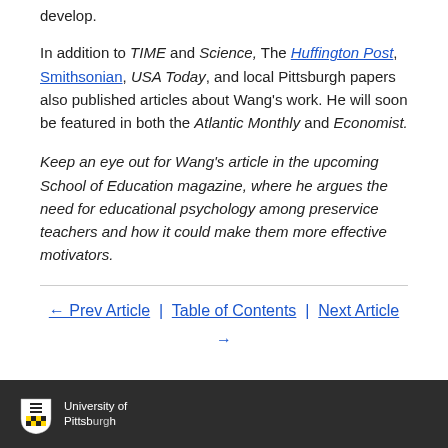develop.
In addition to TIME and Science, The Huffington Post, Smithsonian, USA Today, and local Pittsburgh papers also published articles about Wang's work. He will soon be featured in both the Atlantic Monthly and Economist.
Keep an eye out for Wang's article in the upcoming School of Education magazine, where he argues the need for educational psychology among preservice teachers and how it could make them more effective motivators.
← Prev Article | Table of Contents | Next Article →
[Figure (logo): University of Pittsburgh logo with shield icon on dark footer bar]